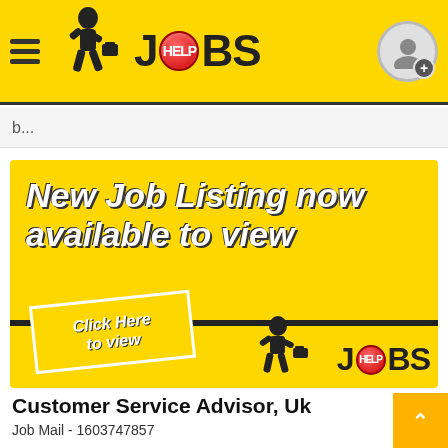[Figure (screenshot): Help Jobs website header with yellow background, hamburger menu, walking figure with briefcase logo, JOBS text with red circular HELP badge, and user avatar icon on right]
b...
[Figure (infographic): Yellow banner advertisement: 'New Job Listing now available to view' with 'Click Here to view' button and Help Jobs logo at bottom right]
Customer Service Advisor, Uk
Job Mail - 1603747857
Customer centric Sales Executives needed to respond to inbound calls from consumers in the UK, dealing with their queries as well as upselling and cross selling them by the end of the call to ea...